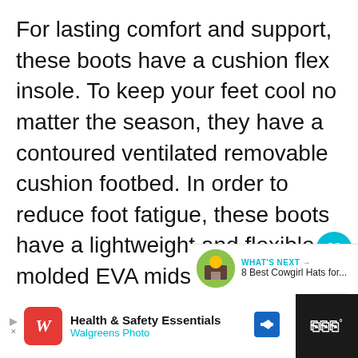For lasting comfort and support, these boots have a cushion flex insole. To keep your feet cool no matter the season, they have a contoured ventilated removable cushion footbed. In order to reduce foot fatigue, these boots have a lightweight and flexible molded EVA midsole.
[Figure (other): UI overlay with teal heart/like button showing count of 1, and a share button below]
[Figure (other): What's Next panel with thumbnail image and text: '8 Best Cowgirl Hats for...']
[Figure (other): Advertisement bar: Walgreens Photo - Health & Safety Essentials ad with red W logo, navigation arrow icon, and dark right panel]